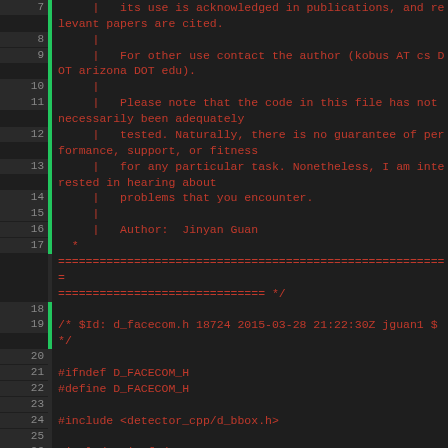Source code listing: d_facecom.h, lines 7-32, showing file header comment with license/author info and C++ header guard with includes and namespace declaration.